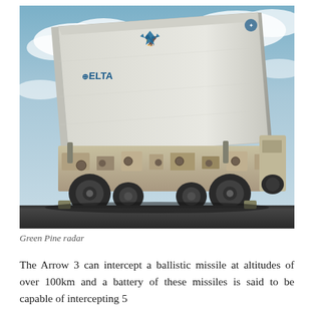[Figure (photo): Green Pine radar system mounted on a large military vehicle/trailer, photographed from a low angle against a cloudy blue sky. The large white rectangular radar panel dominates the image. A blue eagle emblem and 'ELTA' logo are visible on the unit.]
Green Pine radar
The Arrow 3 can intercept a ballistic missile at altitudes of over 100km and a battery of these missiles is said to be capable of intercepting 5